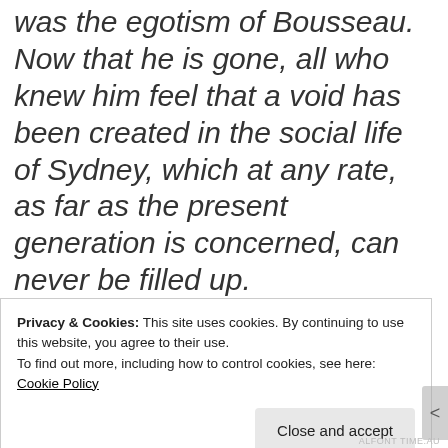was the egotism of Bousseau. Now that he is gone, all who knew him feel that a void has been created in the social life of Sydney, which at any rate, as far as the present generation is concerned, can never be filled up.
[Figure (photo): A red background with the corner of a dark smartphone visible in the upper left area of the image.]
Privacy & Cookies: This site uses cookies. By continuing to use this website, you agree to their use.
To find out more, including how to control cookies, see here: Cookie Policy